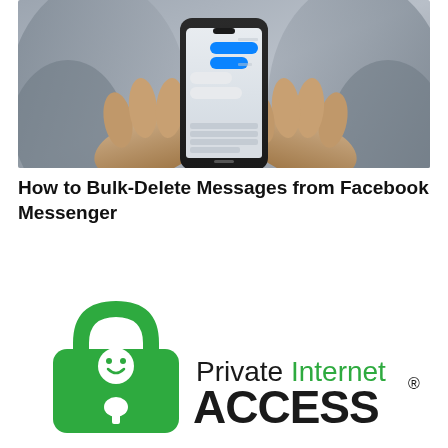[Figure (photo): Person holding a smartphone displaying a Facebook Messenger conversation with blue chat bubbles, viewed from above, hands visible against grey fabric background]
How to Bulk-Delete Messages from Facebook Messenger
[Figure (logo): Private Internet Access VPN logo — green padlock icon with a smiley face character and keyhole, next to text 'Private Internet' in dark color and 'ACCESS' in large bold dark text with registered trademark symbol, 'Internet' in green]